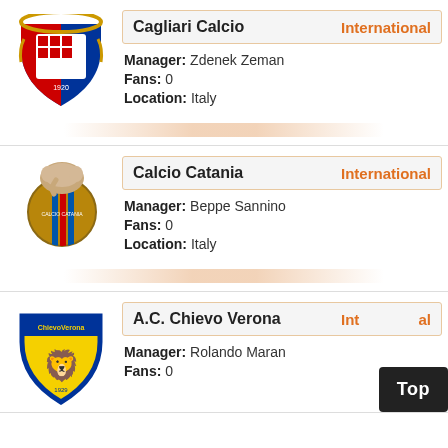[Figure (logo): Cagliari Calcio football club crest logo]
Cagliari Calcio | International
Manager: Zdenek Zeman
Fans: 0
Location: Italy
[Figure (logo): Calcio Catania football club crest logo with elephant]
Calcio Catania | International
Manager: Beppe Sannino
Fans: 0
Location: Italy
[Figure (logo): A.C. Chievo Verona football club crest logo]
A.C. Chievo Verona | International
Manager: Rolando Maran
Fans: 0